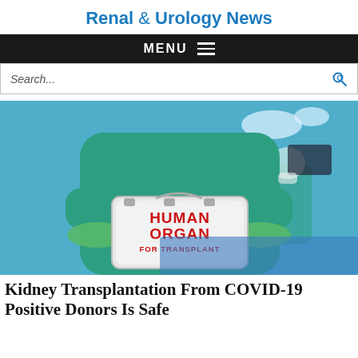Renal & Urology News
MENU
Search...
[Figure (photo): A healthcare worker in teal scrubs and green gloves holding a white metal case labeled 'HUMAN ORGAN FOR TRANSPLANT' in bold red text, inside a hospital operating room with surgical lights and another person in scrubs in the background.]
Kidney Transplantation From COVID-19 Positive Donors Is Safe...